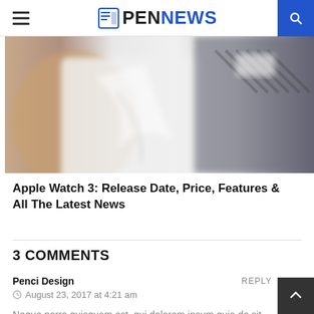PENNEWS
[Figure (photo): Blurred photo of a person wearing a white shirt and dark jacket, apparently looking at a device on their wrist]
Apple Watch 3: Release Date, Price, Features & All The Latest News
3 COMMENTS
Penci Design
August 23, 2017 at 4:21 am
Neque porro quisquam est, qui dolorem ipsum quia do sit amet, consectetur, adipisci velit, sed quia non